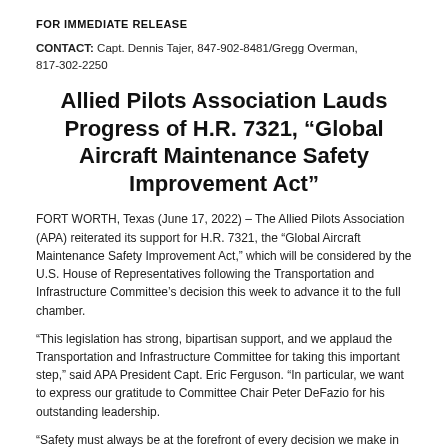FOR IMMEDIATE RELEASE
CONTACT: Capt. Dennis Tajer, 847-902-8481/Gregg Overman, 817-302-2250
Allied Pilots Association Lauds Progress of H.R. 7321, “Global Aircraft Maintenance Safety Improvement Act”
FORT WORTH, Texas (June 17, 2022) – The Allied Pilots Association (APA) reiterated its support for H.R. 7321, the “Global Aircraft Maintenance Safety Improvement Act,” which will be considered by the U.S. House of Representatives following the Transportation and Infrastructure Committee’s decision this week to advance it to the full chamber.
“This legislation has strong, bipartisan support, and we applaud the Transportation and Infrastructure Committee for taking this important step,” said APA President Capt. Eric Ferguson. “In particular, we want to express our gratitude to Committee Chair Peter DeFazio for his outstanding leadership.
“Safety must always be at the forefront of every decision we make in our industry, and the Global Aircraft Maintenance Safety Improvement Act features several important provisions